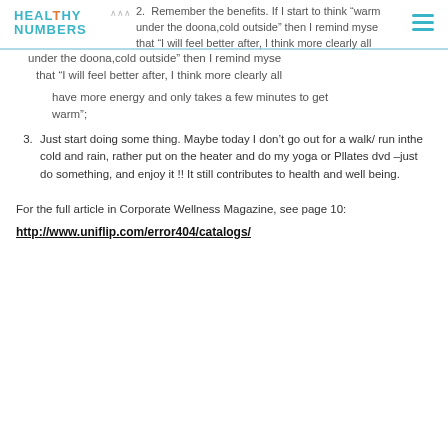HEALTHY NUMBERS
2. Remember the benefits. If I start to think “warm under the doona, cold outside” then I remind myself that “I will feel better after, I think more clearly all day, have more energy and only takes a few minutes to get warm”;
3. Just start doing some thing. Maybe today I don’t go out for a walk/ run inthe cold and rain, rather put on the heater and do my yoga or Pllates dvd –just do something, and enjoy it !! It still contributes to health and well being.
For the full article in Corporate Wellness Magazine, see page 10:
http://www.uniflip.com/error404/catalogs/